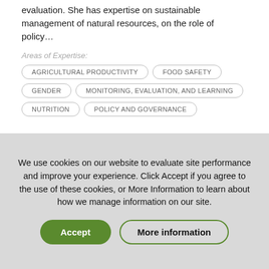evaluation. She has expertise on sustainable management of natural resources, on the role of policy…
Areas of Expertise:
AGRICULTURAL PRODUCTIVITY
FOOD SAFETY
GENDER
MONITORING, EVALUATION, AND LEARNING
NUTRITION
POLICY AND GOVERNANCE
We use cookies on our website to evaluate site performance and improve your experience. Click Accept if you agree to the use of these cookies, or More Information to learn about how we manage information on our site.